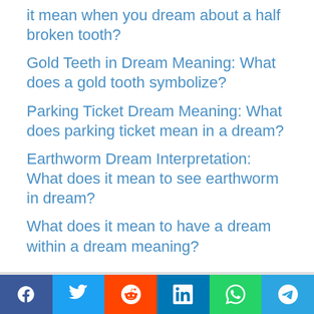it mean when you dream about a half broken tooth?
Gold Teeth in Dream Meaning: What does a gold tooth symbolize?
Parking Ticket Dream Meaning: What does parking ticket mean in a dream?
Earthworm Dream Interpretation: What does it mean to see earthworm in dream?
What does it mean to have a dream within a dream meaning?
Pages
Facebook Twitter Reddit LinkedIn WhatsApp Telegram